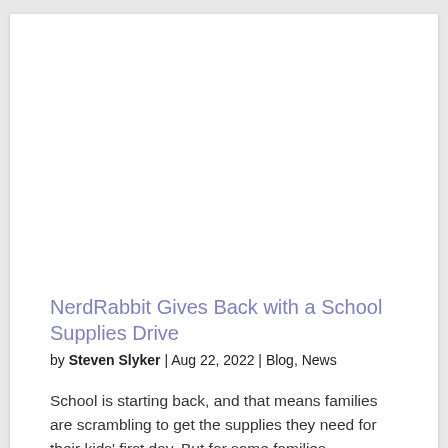[Figure (photo): Large image placeholder at top of article, white/blank area]
NerdRabbit Gives Back with a School Supplies Drive
by Steven Slyker | Aug 22, 2022 | Blog, News
School is starting back, and that means families are scrambling to get the supplies they need for their kids' first day. But for some families